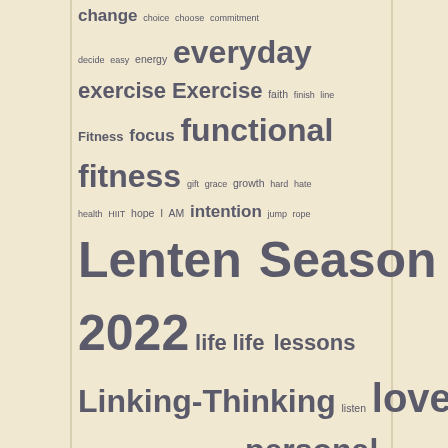[Figure (other): Tag cloud with words related to fitness, faith, and wellness. Words are displayed in varying sizes indicating frequency/importance. Background is beige/cream with vertical border lines on left and right sides. Key large terms include 'Lenten Season 2022', 'running', 'strength', 'functional fitness', 'life lessons', 'stay at home', 'love', 'practice', 'run', 'thinking', 'thoughts'.]